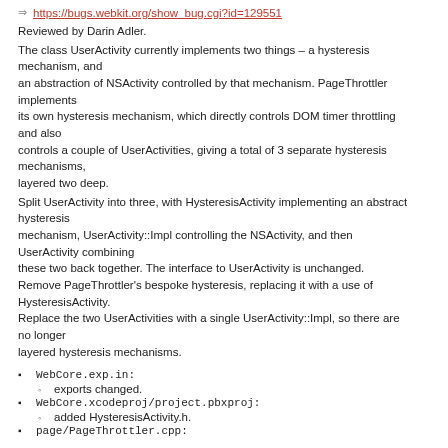https://bugs.webkit.org/show_bug.cgi?id=129551
Reviewed by Darin Adler.
The class UserActivity currently implements two things – a hysteresis mechanism, and an abstraction of NSActivity controlled by that mechanism. PageThrottler implements its own hysteresis mechanism, which directly controls DOM timer throttling and also controls a couple of UserActivities, giving a total of 3 separate hysteresis mechanisms, layered two deep.
Split UserActivity into three, with HysteresisActivity implementing an abstract hysteresis mechanism, UserActivity::Impl controlling the NSActivity, and then UserActivity combining these two back together. The interface to UserActivity is unchanged. Remove PageThrottler's bespoke hysteresis, replacing it with a use of HysteresisActivity. Replace the two UserActivities with a single UserActivity::Impl, so there are no longer layered hysteresis mechanisms.
WebCore.exp.in:
exports changed.
WebCore.xcodeproj/project.pbxproj:
added HysteresisActivity.h.
page/PageThrottler.cpp: